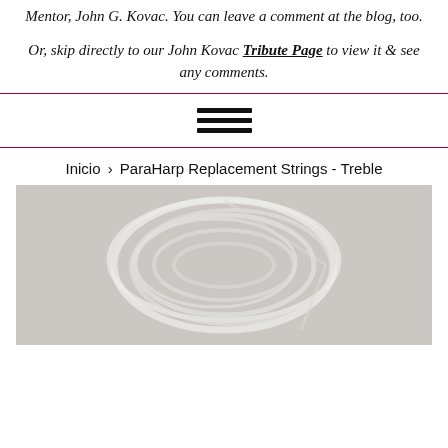Mentor, John G. Kovac. You can leave a comment at the blog, too.
Or, skip directly to our John Kovac Tribute Page to view it & see any comments.
[Figure (other): Hamburger menu icon (three horizontal bars)]
Inicio > ParaHarp Replacement Strings - Treble
[Figure (photo): Product photo of white harp replacement strings coiled on a gray background]